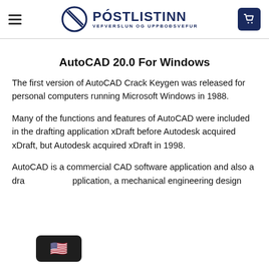PÓSTLISTINN — VEFVERSLUN OG UPPBOÐSVEFUR
AutoCAD 20.0 For Windows
The first version of AutoCAD Crack Keygen was released for personal computers running Microsoft Windows in 1988.
Many of the functions and features of AutoCAD were included in the drafting application xDraft before Autodesk acquired xDraft, but Autodesk acquired xDraft in 1998.
AutoCAD is a commercial CAD software application and also a drafting application, a mechanical engineering design